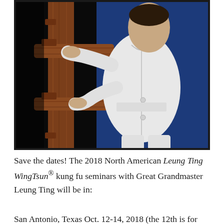[Figure (photo): A person wearing a white kung fu uniform practicing with a wooden dummy (mook jong). The person is gripping the wooden arms of the dummy. Background is dark blue. The photo has a dark border/frame.]
Save the dates! The 2018 North American Leung Ting WingTsun® kung fu seminars with Great Grandmaster Leung Ting will be in:
San Antonio, Texas Oct. 12-14, 2018 (the 12th is for